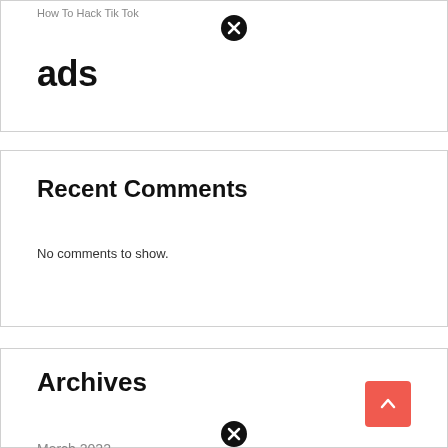How To Hack Tik Tok
ads
Recent Comments
No comments to show.
Archives
March 2022
February 2022
January 2022
December 2021